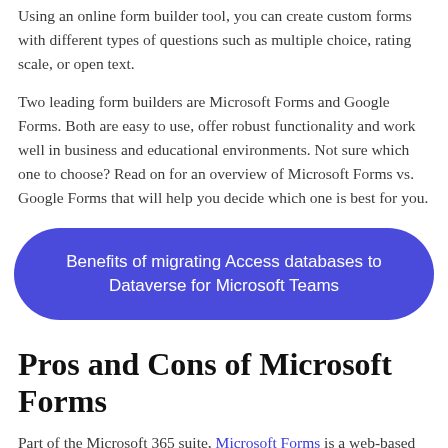Using an online form builder tool, you can create custom forms with different types of questions such as multiple choice, rating scale, or open text.
Two leading form builders are Microsoft Forms and Google Forms. Both are easy to use, offer robust functionality and work well in business and educational environments. Not sure which one to choose? Read on for an overview of Microsoft Forms vs. Google Forms that will help you decide which one is best for you.
[Figure (other): A rounded rectangular button with dark blue/purple background containing the text 'Benefits of migrating Access databases to Dataverse for Microsoft Teams' in white.]
Pros and Cons of Microsoft Forms
Part of the Microsoft 365 suite, Microsoft Forms is a web-based app that is accessible on all platforms and